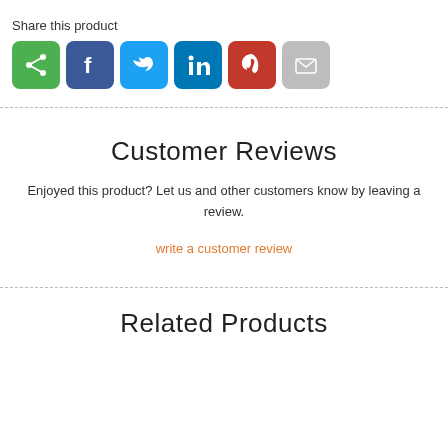Share this product
[Figure (infographic): Row of social share icon buttons: share (green), Facebook (dark blue), Twitter (light blue), LinkedIn (medium blue), Pinterest (red), Email (gray)]
Customer Reviews
Enjoyed this product? Let us and other customers know by leaving a review.
write a customer review
Related Products